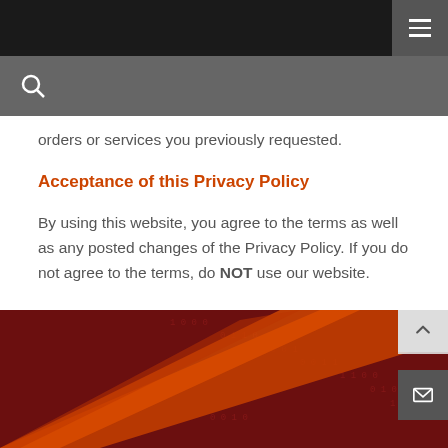Navigation bar with hamburger menu
orders or services you previously requested.
Acceptance of this Privacy Policy
By using this website, you agree to the terms as well as any posted changes of the Privacy Policy. If you do not agree to the terms, do NOT use our website.
[Figure (photo): Bottom decorative banner with dark red background and binary code pattern, diagonal orange/red gradient element]